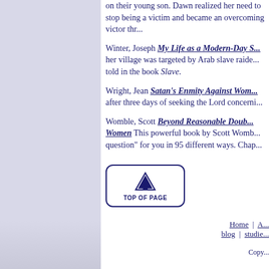on their young son. Dawn realized her need to stop being a victim and became an overcoming victor thr...
Winter, Joseph My Life as a Modern-Day S... her village was targeted by Arab slave raide... told in the book Slave.
Wright, Jean Satan's Enmity Against Wom... after three days of seeking the Lord concerni...
Womble, Scott Beyond Reasonable Doub... Women This powerful book by Scott Womb... question" for you in 95 different ways. Chap...
[Figure (other): Top of Page button with upward arrow icon and text 'TOP OF PAGE']
Home | A... blog | studie... Copy...